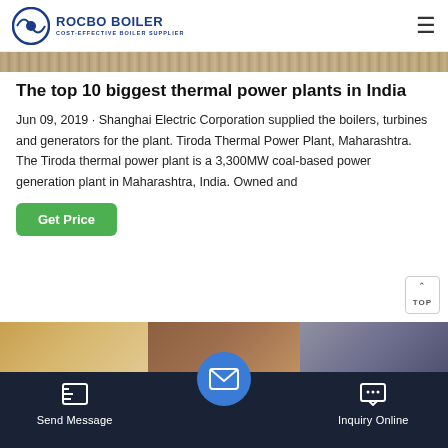ROCBO BOILER - COST-EFFECTIVE BOILER SUPPLIER
[Figure (photo): Top strip image showing thermal power plant or industrial boiler equipment]
The top 10 biggest thermal power plants in India
Jun 09, 2019 · Shanghai Electric Corporation supplied the boilers, turbines and generators for the plant. Tiroda Thermal Power Plant, Maharashtra. The Tiroda thermal power plant is a 3,300MW coal-based power generation plant in Maharashtra, India. Owned and
[Figure (photo): Bottom strip showing three panels of industrial/boiler facility images]
Send Message | Inquiry Online